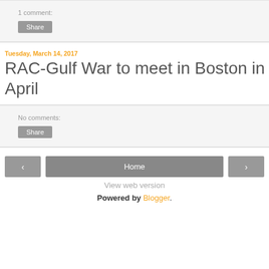1 comment:
Share
Tuesday, March 14, 2017
RAC-Gulf War to meet in Boston in April
No comments:
Share
‹ › Home
View web version
Powered by Blogger.